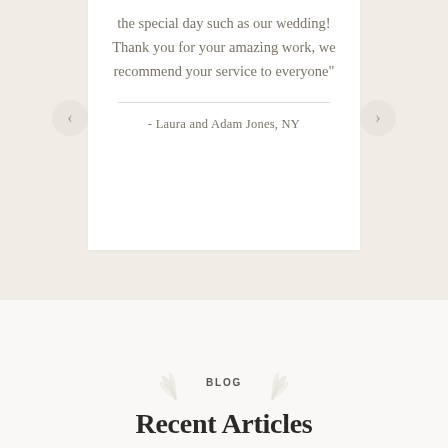the special day such as our wedding! Thank you for your amazing work, we recommend your service to everyone"
- Laura and Adam Jones,  NY
BLOG
Recent Articles